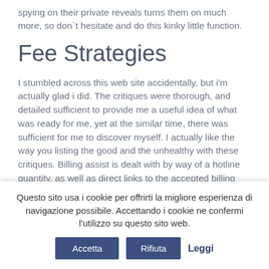spying on their private reveals turns them on much more, so don`t hesitate and do this kinky little function.
Fee Strategies
I stumbled across this web site accidentally, but i'm actually glad i did. The critiques were thorough, and detailed sufficient to provide me a useful idea of what was ready for me, yet at the similar time, there was sufficient for me to discover myself. I actually like the way you listing the good and the unhealthy with these critiques. Billing assist is dealt with by way of a hotline quantity, as well as direct links to the accepted billing companies, Epoch, and SegPay.
They include an ad-free interface, limitless free chat messages, entry to numerous group chat options, and better communication with the models. It permits you to see who're the most well-performing webcam fashions...
Questo sito usa i cookie per offrirti la migliore esperienza di navigazione possibile. Accettando i cookie ne confermi l'utilizzo su questo sito web. Accetta Rifiuta Leggi